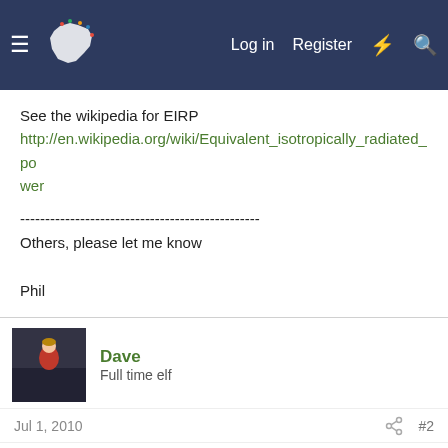Log in  Register
See the wikipedia for EIRP
http://en.wikipedia.org/wiki/Equivalent_isotropically_radiated_power
------------------------------------------------
Others, please let me know

Phil
Dave
Full time elf
Jul 1, 2010  #2
Pardon my ignorance here Phil,